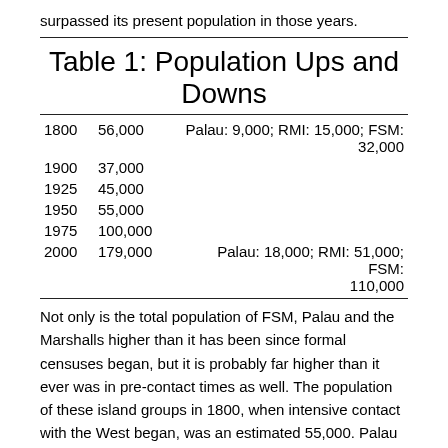surpassed its present population in those years.
Table 1: Population Ups and Downs
| Year | Population | Detail |
| --- | --- | --- |
| 1800 | 56,000 | Palau: 9,000; RMI: 15,000; FSM: 32,000 |
| 1900 | 37,000 |  |
| 1925 | 45,000 |  |
| 1950 | 55,000 |  |
| 1975 | 100,000 |  |
| 2000 | 179,000 | Palau: 18,000; RMI: 51,000; FSM: 110,000 |
Not only is the total population of FSM, Palau and the Marshalls higher than it has been since formal censuses began, but it is probably far higher than it ever was in pre-contact times as well. The population of these island groups in 1800, when intensive contact with the West began, was an estimated 55,000. Palau may have had 9,000 inhabitants at the time (unless one believes the far-fetched stories of an aboriginal population of 40,000 or larger).